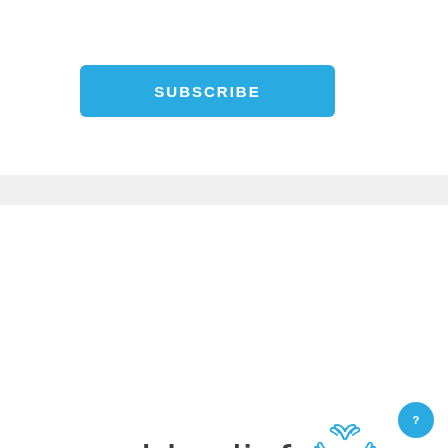[Figure (other): Blue SUBSCRIBE button on white background]
[Figure (logo): World Relief Quad Cities logo with blue cross/hands icon and text 'world relief' and 'QUAD CITIES']
World Relief is a global Christian humanitarian organization that brings sustainable solutions to the world's greatest problems – disasters, extreme poverty, violence, oppression, and mass displacement. We partner with local churches and community leaders in the U.S. and abroad to bring hope, healing and transformation to the most vulnerable.